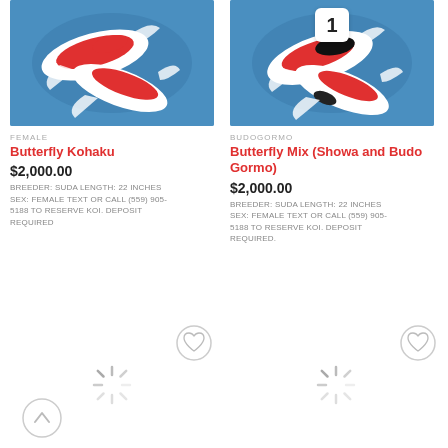[Figure (photo): Photo of red and white koi fish in blue water (Butterfly Kohaku)]
FEMALE
Butterfly Kohaku
$2,000.00
BREEDER: SUDA LENGTH: 22 INCHES SEX: FEMALE TEXT OR CALL (559) 905-5188 TO RESERVE KOI. DEPOSIT REQUIRED
[Figure (photo): Photo of red and white koi fish in blue water with badge number 1 (Butterfly Mix Showa and Budo Gormo)]
BUDOGORMO
Butterfly Mix (Showa and Budo Gormo)
$2,000.00
BREEDER: SUDA LENGTH: 22 INCHES SEX: FEMALE TEXT OR CALL (559) 905-5188 TO RESERVE KOI. DEPOSIT REQUIRED.